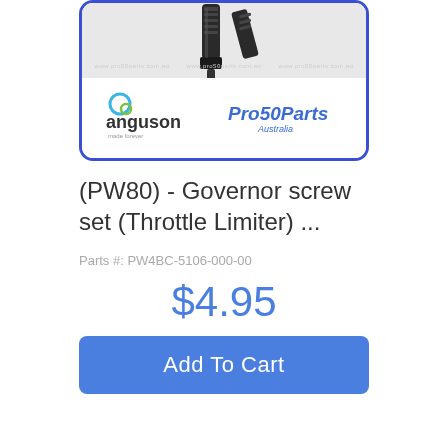[Figure (photo): Product image showing a governor screw set (throttle limiter) for PW80, displayed in a rounded blue-bordered box with Anguson and Pro50Parts Australia logos at the bottom]
(PW80) - Governor screw set (Throttle Limiter) ...
Parts #: PW4BC-5106-000-00
$4.95
Add To Cart